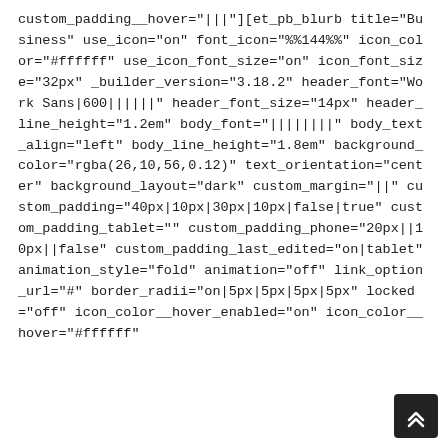custom_padding__hover="|||"][et_pb_blurb title="Business" use_icon="on" font_icon="%%144%%" icon_color="#ffffff" use_icon_font_size="on" icon_font_size="32px" _builder_version="3.18.2" header_font="Work Sans|600||||||" header_font_size="14px" header_line_height="1.2em" body_font="||||||||" body_text_align="left" body_line_height="1.8em" background_color="rgba(26,10,56,0.12)" text_orientation="center" background_layout="dark" custom_margin="||" custom_padding="40px|10px|30px|10px|false|true" custom_padding_tablet="" custom_padding_phone="20px||10px||false" custom_padding_last_edited="on|tablet" animation_style="fold" animation="off" link_option_url="#" border_radii="on|5px|5px|5px|5px" locked="off" icon_color__hover_enabled="on" icon_color__hover="#ffffff"